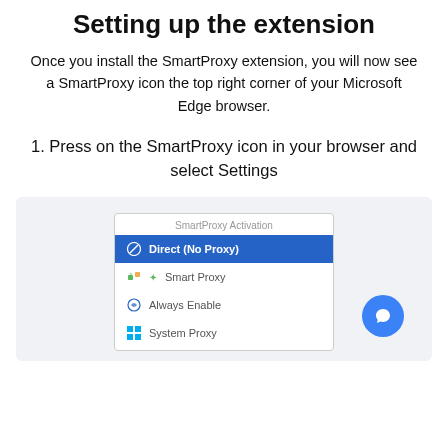Setting up the extension
Once you install the SmartProxy extension, you will now see a SmartProxy icon the top right corner of your Microsoft Edge browser.
1. Press on the SmartProxy icon in your browser and select Settings
[Figure (screenshot): Screenshot of SmartProxy Activation popup menu showing four options: Direct (No Proxy) highlighted in blue, Smart Proxy, Always Enable, System Proxy. A blue chat bubble button is visible in the bottom-right corner.]